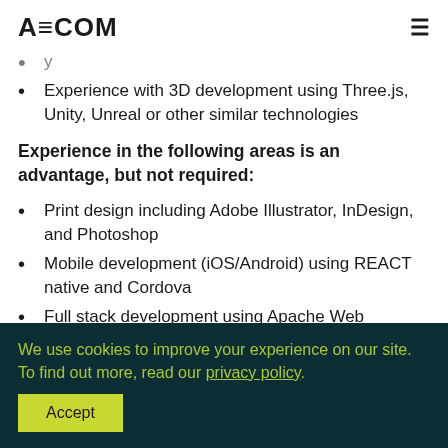AECOM
Experience with 3D development using Three.js, Unity, Unreal or other similar technologies
Experience in the following areas is an advantage, but not required:
Print design including Adobe Illustrator, InDesign, and Photoshop
Mobile development (iOS/Android) using REACT native and Cordova
Full stack development using Apache Web Servers,
We use cookies to improve your experience on our site. To find out more, read our privacy policy.